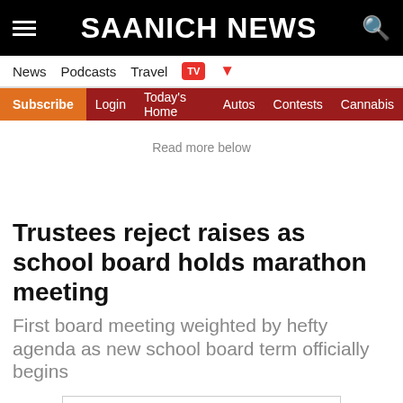SAANICH NEWS
News  Podcasts  Travel  TV
Subscribe  Login  Today's Home  Autos  Contests  Cannabis
Read more below
Trustees reject raises as school board holds marathon meeting
First board meeting weighted by hefty agenda as new school board term officially begins
[Figure (other): Advertisement banner: Looking for work or a new career? August 25, 11AM - 3PM. Featuring 25+ Exhibitors and Growing! CLICK HERE]